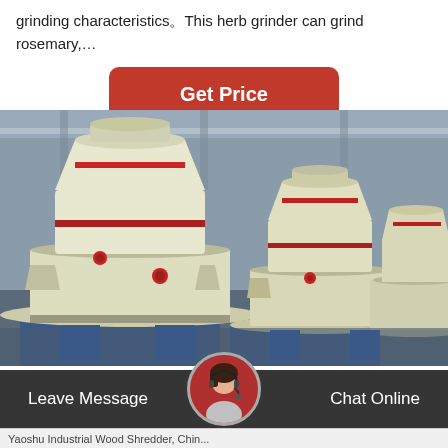grinding characteristics。This herb grinder can grind rosemary,…
[Figure (other): Red rounded-rectangle button labeled 'Get Price' on white background]
[Figure (photo): Industrial grinding mill machines (large white cylindrical grinding equipment) lined up in a factory warehouse with blue steel support bases and red accent markings]
Leave Message   Chat Online
Yaoshu Industrial Wood Shredder, Chin...